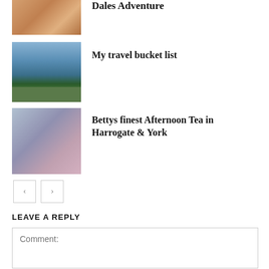[Figure (photo): Partial thumbnail of food/roast dish (Dales Adventure post)]
Dales Adventure
[Figure (photo): Photo of mountain lake with canoes and forest, blue sky]
My travel bucket list
[Figure (photo): Photo of woman at Bettys afternoon tea with cakes and pastries]
Bettys finest Afternoon Tea in Harrogate & York
< >
LEAVE A REPLY
Comment: